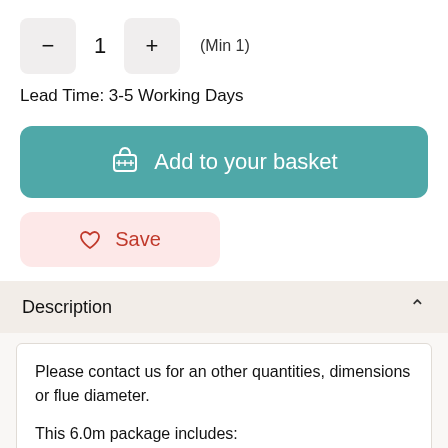[Figure (screenshot): Quantity selector with minus button, value 1, plus button, and (Min 1) label]
Lead Time: 3-5 Working Days
[Figure (screenshot): Add to your basket button with basket icon, teal background]
[Figure (screenshot): Save button with heart icon, pink background]
Description
Please contact us for an other quantities, dimensions or flue diameter.

This 6.0m package includes: